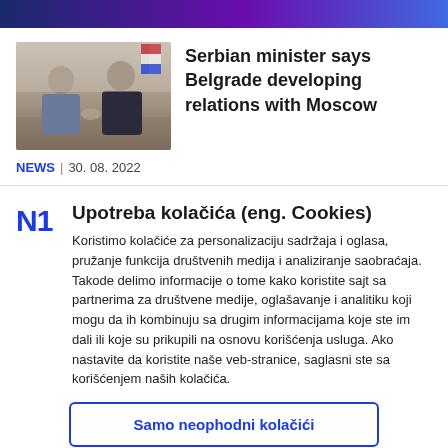Serbian minister says Belgrade developing relations with Moscow
NEWS | 30. 08. 2022
Upotreba kolačića (eng. Cookies)
Koristimo kolačiće za personalizaciju sadržaja i oglasa, pružanje funkcija društvenih medija i analiziranje saobraćaja. Takode delimo informacije o tome kako koristite sajt sa partnerima za društvene medije, oglašavanje i analitiku koji mogu da ih kombinuju sa drugim informacijama koje ste im dali ili koje su prikupili na osnovu korišćenja usluga. Ako nastavite da koristite naše veb-stranice, saglasni ste sa korišćenjem naših kolačića.
Samo neophodni kolačići
Dozvoli sve kolačiće
Pokaži detalje